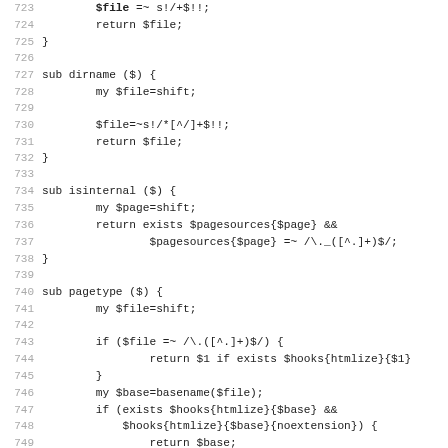[Figure (screenshot): Source code listing in a monospaced font showing Perl subroutines: lines 723-755 covering dirname, isinternal, pagetype functions and a %pagename_cache variable declaration. Line numbers are shown in grey on the left.]